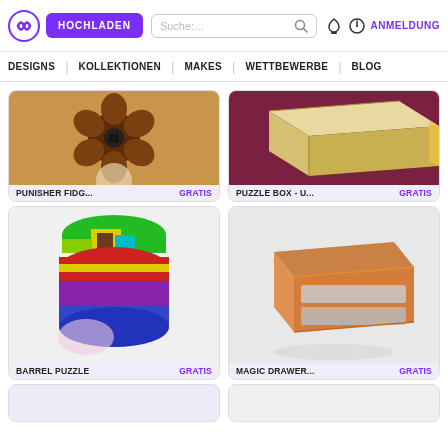HOCHLADEN | Suche... | ANMELDUNG
DESIGNS | KOLLEKTIONEN | MAKES | WETTBEWERBE | BLOG
[Figure (photo): 3D printed Punisher fidget spinner in brown/dark brown color]
PUNISHER FIDG...   GRATIS
[Figure (photo): Wooden puzzle box on purple/dark red background]
PUZZLE BOX - U...   GRATIS
[Figure (photo): Colorful barrel puzzle 3D model with red, green, yellow, blue, purple segments]
BARREL PUZZLE   GRATIS
[Figure (photo): Orange magic drawer box 3D model with gray sliding panels]
MAGIC DRAWER...   GRATIS